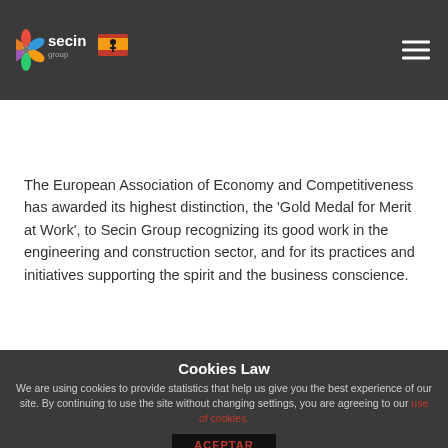secin group
The European Association of Economy and Competitiveness has awarded its highest distinction, the 'Gold Medal for Merit at Work', to Secin Group recognizing its good work in the engineering and construction sector, and for its practices and initiatives supporting the spirit and the business conscience.
Cookies Law
We are using cookies to provide statistics that help us give you the best experience of our site. By continuing to use the site without changing settings, you are agreeing to our use of cookies.